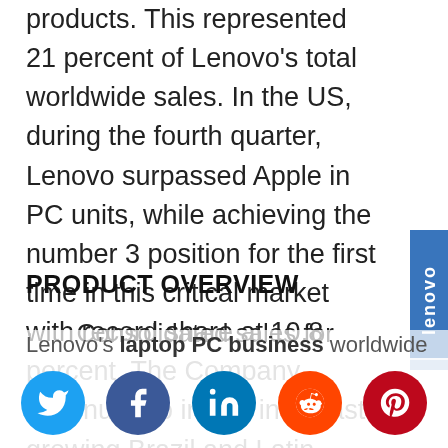products. This represented 21 percent of Lenovo's total worldwide sales. In the US, during the fourth quarter, Lenovo surpassed Apple in PC units, while achieving the number 3 position for the first time in this critical market with record share at 10.8 percent. The Company continued to invest in its fast growing Brazil and Latin America businesses.
PRODUCT OVERVIEW
· Consolidated sales for Lenovo's laptop PC business worldwide
[Figure (other): Lenovo branded vertical sidebar in blue]
[Figure (other): Social sharing bar with Twitter, Facebook, LinkedIn, Reddit, and Pinterest icons]